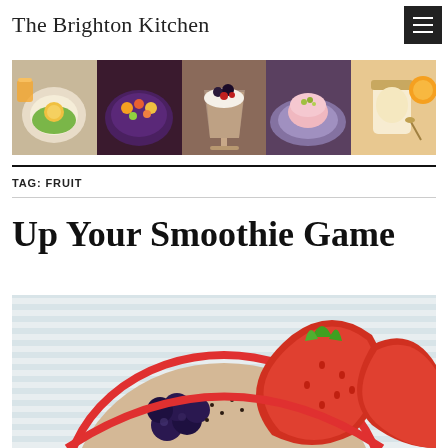The Brighton Kitchen
[Figure (photo): Horizontal banner strip of 5 food photos: egg dish on plate, colorful grain bowl, dessert in glass, pink panna cotta on blue plate, jar with yogurt and fruit]
TAG: FRUIT
Up Your Smoothie Game
[Figure (photo): Smoothie bowl topped with strawberries, blueberries, and chia seeds in a round bowl, partially visible, light striped background]